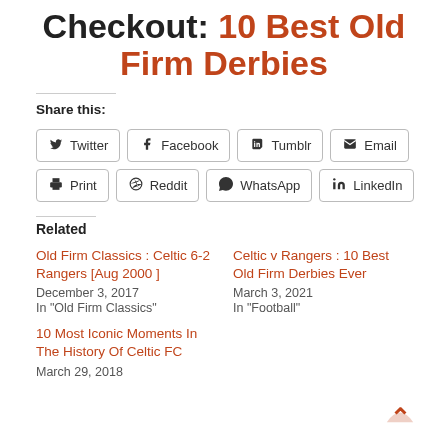Checkout: 10 Best Old Firm Derbies
Share this:
Twitter | Facebook | Tumblr | Email | Print | Reddit | WhatsApp | LinkedIn
Related
Old Firm Classics : Celtic 6-2 Rangers [Aug 2000 ]
December 3, 2017
In "Old Firm Classics"
Celtic v Rangers : 10 Best Old Firm Derbies Ever
March 3, 2021
In "Football"
10 Most Iconic Moments In The History Of Celtic FC
March 29, 2018